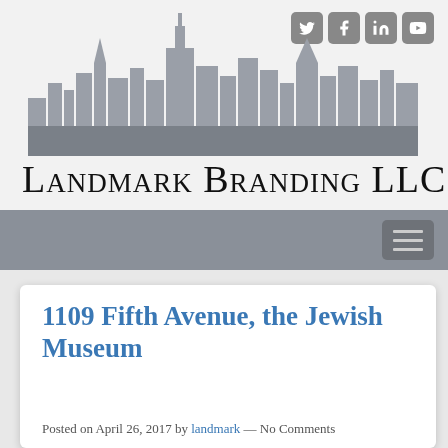[Figure (illustration): Landmark Branding LLC website header with NYC skyline silhouette graphic in grey tones, social media icons (Twitter, Facebook, LinkedIn, YouTube) in top right corner, and company logo text below]
Landmark Branding LLC
[Figure (screenshot): Navigation bar with hamburger menu button on right side]
1109 Fifth Avenue, the Jewish Museum
Posted on April 26, 2017 by landmark — No Comments
[Figure (photo): Photograph of 1109 Fifth Avenue building (Jewish Museum), showing ornate stone architecture against a blue sky]